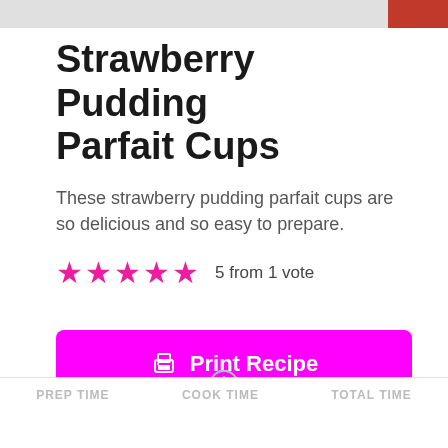[Figure (photo): Top of a strawberry pudding parfait cup photo, partially cropped — grey and red tones visible]
Strawberry Pudding Parfait Cups
These strawberry pudding parfait cups are so delicious and so easy to prepare.
5 from 1 vote
Print Recipe
Pin Recipe
PREP TIME   COOK TIME   TOTAL TIME